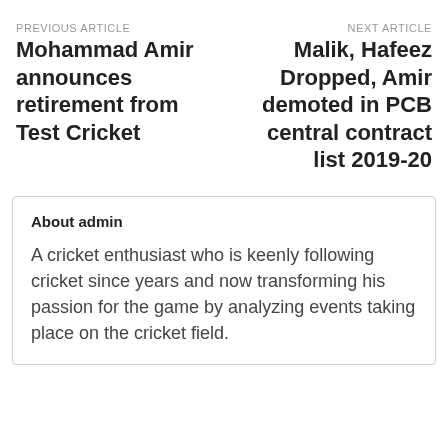PREVIOUS ARTICLE
Mohammad Amir announces retirement from Test Cricket
NEXT ARTICLE
Malik, Hafeez Dropped, Amir demoted in PCB central contract list 2019-20
About admin
A cricket enthusiast who is keenly following cricket since years and now transforming his passion for the game by analyzing events taking place on the cricket field.